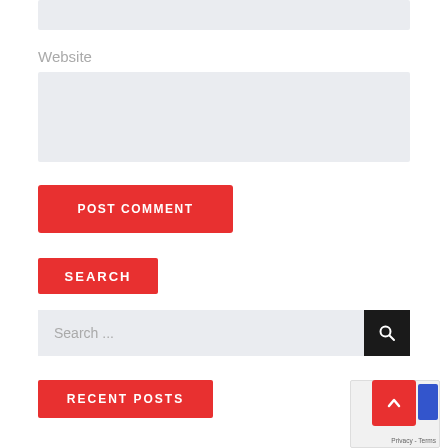[Figure (screenshot): Top input field (partially visible), light gray background box]
Website
[Figure (screenshot): Website input field, light gray background box]
[Figure (screenshot): POST COMMENT button, red background with white uppercase text]
SEARCH
[Figure (screenshot): Search bar with gray input area showing 'Search ...' placeholder and black search button with magnifying glass icon]
RECENT POSTS
[Figure (screenshot): Back to top button (red with upward arrow) and reCAPTCHA privacy/terms overlay in bottom right corner]